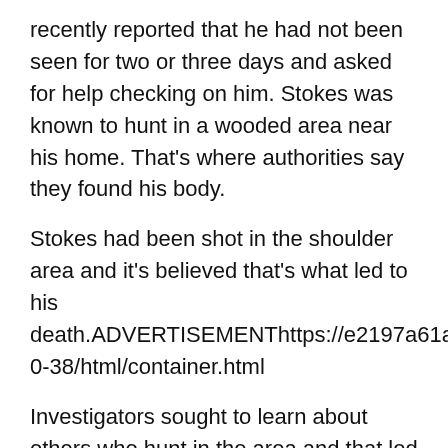recently reported that he had not been seen for two or three days and asked for help checking on him. Stokes was known to hunt in a wooded area near his home. That's where authorities say they found his body.
Stokes had been shot in the shoulder area and it's believed that's what led to his death.ADVERTISEMENThttps://e2197a61ae19b7192b78e861cce09e64.safeframe.googlesyndication.com/safeframe/1-0-38/html/container.html
Investigators sought to learn about others who hunt in the area and that led them to Sanders. They say they discovered that Sanders had been involved and he was arrested.
Sanders was booked into the Morehouse Parish Jail on